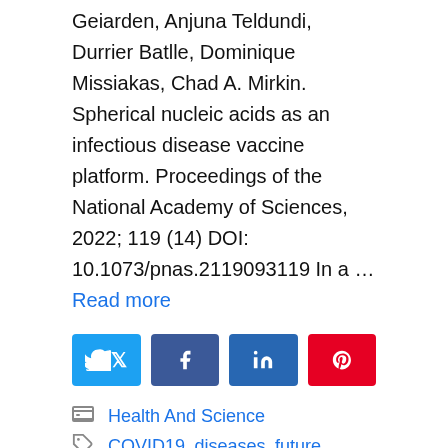Geiarden, Anjuna Teldundi, Durrier Batlle, Dominique Missiakas, Chad A. Mirkin. Spherical nucleic acids as an infectious disease vaccine platform. Proceedings of the National Academy of Sciences, 2022; 119 (14) DOI: 10.1073/pnas.2119093119 In a … Read more
[Figure (infographic): Social share buttons: Twitter (light blue), Facebook (dark blue), LinkedIn (dark blue), Pinterest (red)]
Health And Science
COVID19, diseases, future,